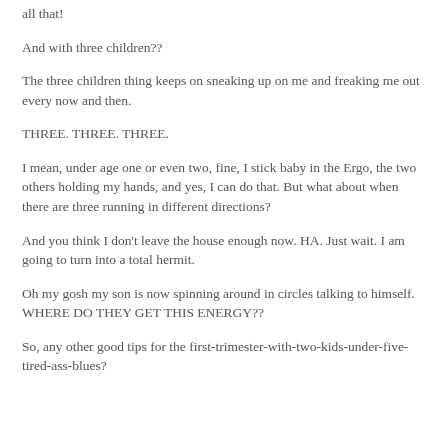all that!
And with three children??
The three children thing keeps on sneaking up on me and freaking me out every now and then.
THREE. THREE. THREE.
I mean, under age one or even two, fine, I stick baby in the Ergo, the two others holding my hands, and yes, I can do that. But what about when there are three running in different directions?
And you think I don't leave the house enough now. HA. Just wait. I am going to turn into a total hermit.
Oh my gosh my son is now spinning around in circles talking to himself. WHERE DO THEY GET THIS ENERGY??
So, any other good tips for the first-trimester-with-two-kids-under-five-tired-ass-blues?